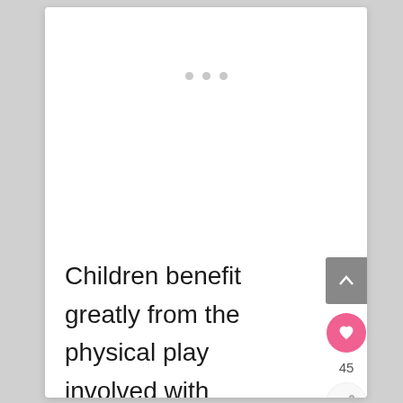[Figure (other): Three gray dots indicating a pagination or loading indicator]
Children benefit greatly from the physical play involved with climbing, jumping, and swinging, as well as the open spaces that